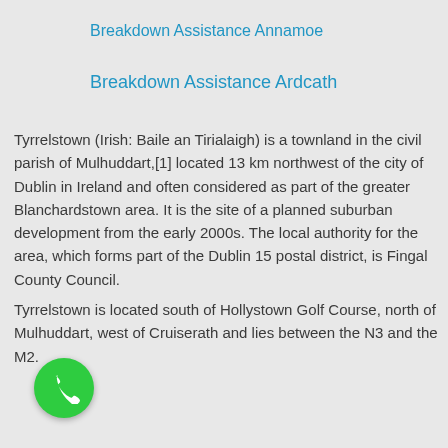Breakdown Assistance Annamoe
Breakdown Assistance Ardcath
Tyrrelstown (Irish: Baile an Tirialaigh) is a townland in the civil parish of Mulhuddart,[1] located 13 km northwest of the city of Dublin in Ireland and often considered as part of the greater Blanchardstown area. It is the site of a planned suburban development from the early 2000s. The local authority for the area, which forms part of the Dublin 15 postal district, is Fingal County Council.
Tyrrelstown is located south of Hollystown Golf Course, north of Mulhuddart, west of Cruiserath and lies between the N3 and the M2.
[Figure (illustration): Green circular phone call button with white handset icon]